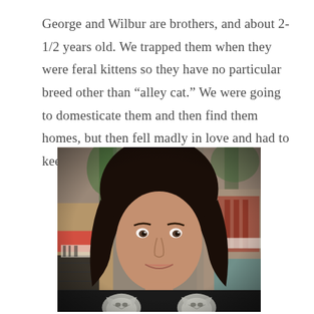George and Wilbur are brothers, and about 2-1/2 years old. We trapped them when they were feral kittens so they have no particular breed other than “alley cat.” We were going to domesticate them and then find them homes, but then fell madly in love and had to keep them.
[Figure (photo): A woman with dark hair smiling at the camera, wearing a dark sweater with cat face prints on it. She is indoors in what appears to be a home or cafe setting with plants, chairs, and furniture visible in the background.]